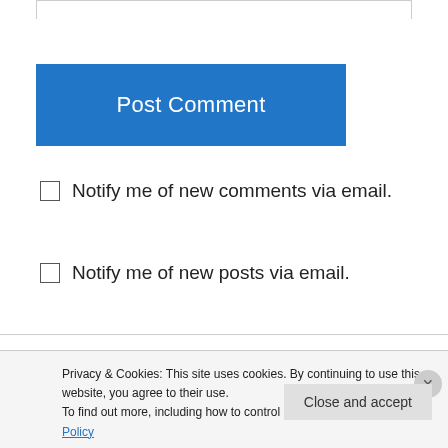[Figure (other): Post Comment blue button]
Notify me of new comments via email.
Notify me of new posts via email.
redhead on August 19, 2009 at 4:39 pm
It's so great that you are doing this series of interviews! I'm glad DC/Balto is well-
Privacy & Cookies: This site uses cookies. By continuing to use this website, you agree to their use. To find out more, including how to control cookies, see here: Cookie Policy
Close and accept